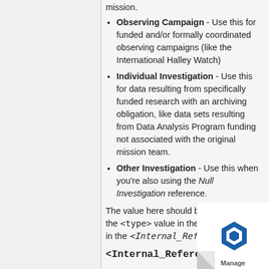Observing Campaign - Use this for funded and/or formally coordinated observing campaigns (like the International Halley Watch)
Individual Investigation - Use this for data resulting from specifically funded research with an archiving obligation, like data sets resulting from Data Analysis Program funding not associated with the original mission team.
Other Investigation - Use this when you're also using the Null Investigation reference.
The value here should be identical to the <type> value in the context object in the <Internal_Reference>.
<Internal_Reference>